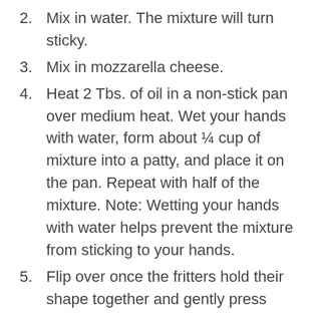2. Mix in water. The mixture will turn sticky.
3. Mix in mozzarella cheese.
4. Heat 2 Tbs. of oil in a non-stick pan over medium heat. Wet your hands with water, form about ¼ cup of mixture into a patty, and place it on the pan. Repeat with half of the mixture. Note: Wetting your hands with water helps prevent the mixture from sticking to your hands.
5. Flip over once the fritters hold their shape together and gently press down with a metal spatula. Cook until both sides are golden brown and crispy.
6. Repeat steps 4 and 5 with the remaining